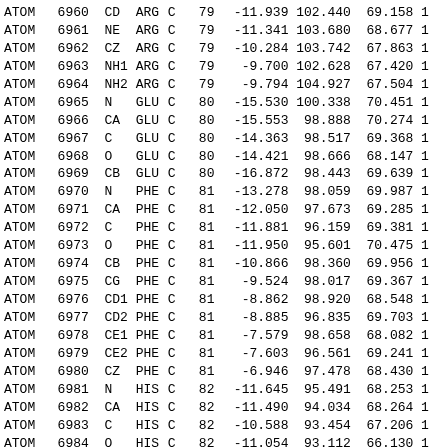| type | serial | name | resName | chainID | resSeq | x | y | z |  |
| --- | --- | --- | --- | --- | --- | --- | --- | --- | --- |
| ATOM | 6960 | CD | ARG | C | 79 | -11.939 | 102.440 | 69.158 | 1 |
| ATOM | 6961 | NE | ARG | C | 79 | -11.341 | 103.680 | 68.677 | 1 |
| ATOM | 6962 | CZ | ARG | C | 79 | -10.284 | 103.742 | 67.863 | 1 |
| ATOM | 6963 | NH1 | ARG | C | 79 | -9.700 | 102.628 | 67.420 | 1 |
| ATOM | 6964 | NH2 | ARG | C | 79 | -9.794 | 104.927 | 67.504 | 1 |
| ATOM | 6965 | N | GLU | C | 80 | -15.530 | 100.338 | 70.451 | 1 |
| ATOM | 6966 | CA | GLU | C | 80 | -15.553 | 98.888 | 70.274 | 1 |
| ATOM | 6967 | C | GLU | C | 80 | -14.363 | 98.517 | 69.368 | 1 |
| ATOM | 6968 | O | GLU | C | 80 | -14.421 | 98.666 | 68.147 | 1 |
| ATOM | 6969 | CB | GLU | C | 80 | -16.872 | 98.443 | 69.639 | 1 |
| ATOM | 6970 | N | PHE | C | 81 | -13.278 | 98.059 | 69.987 | 1 |
| ATOM | 6971 | CA | PHE | C | 81 | -12.050 | 97.673 | 69.285 | 1 |
| ATOM | 6972 | C | PHE | C | 81 | -11.881 | 96.159 | 69.381 | 1 |
| ATOM | 6973 | O | PHE | C | 81 | -11.950 | 95.601 | 70.475 | 1 |
| ATOM | 6974 | CB | PHE | C | 81 | -10.866 | 98.360 | 69.956 | 1 |
| ATOM | 6975 | CG | PHE | C | 81 | -9.524 | 98.017 | 69.367 | 1 |
| ATOM | 6976 | CD1 | PHE | C | 81 | -8.862 | 98.920 | 68.548 | 1 |
| ATOM | 6977 | CD2 | PHE | C | 81 | -8.885 | 96.835 | 69.703 | 1 |
| ATOM | 6978 | CE1 | PHE | C | 81 | -7.579 | 98.658 | 68.082 | 1 |
| ATOM | 6979 | CE2 | PHE | C | 81 | -7.603 | 96.561 | 69.241 | 1 |
| ATOM | 6980 | CZ | PHE | C | 81 | -6.946 | 97.478 | 68.430 | 1 |
| ATOM | 6981 | N | HIS | C | 82 | -11.645 | 95.491 | 68.253 | 1 |
| ATOM | 6982 | CA | HIS | C | 82 | -11.490 | 94.034 | 68.264 | 1 |
| ATOM | 6983 | C | HIS | C | 82 | -10.588 | 93.454 | 67.206 | 1 |
| ATOM | 6984 | O | HIS | C | 82 | -11.054 | 93.112 | 66.130 | 1 |
| ATOM | 6985 | CB | HIS | C | 82 | -12.846 | 93.369 | 68.120 | 1 |
| ATOM | 6986 | CG | HIS | C | 82 | -13.809 | 93.776 | 69.174 | 1 |
| ATOM | 6987 | ND1 | HIS | C | 82 | -13.737 | 93.298 | 70.463 | 1 |
| ATOM | 6988 | CD2 | HIS | C | 82 | -14.801 | 94.694 | 69.162 | 1 |
| ATOM | 6989 | CE1 | HIS | C | 82 | -14.644 | 93.908 | 71.203 | 1 |